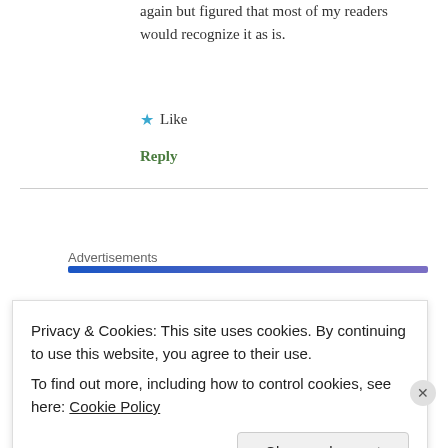again but figured that most of my readers would recognize it as is.
★ Like
Reply
Advertisements
[Figure (photo): Circular avatar photo of a person with dark hair]
Asali | June 7, 2015 at 5:14 am
Privacy & Cookies: This site uses cookies. By continuing to use this website, you agree to their use.
To find out more, including how to control cookies, see here: Cookie Policy
Close and accept